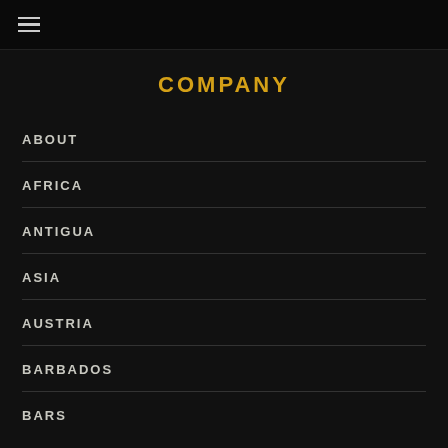☰
COMPANY
ABOUT
AFRICA
ANTIGUA
ASIA
AUSTRIA
BARBADOS
BARS